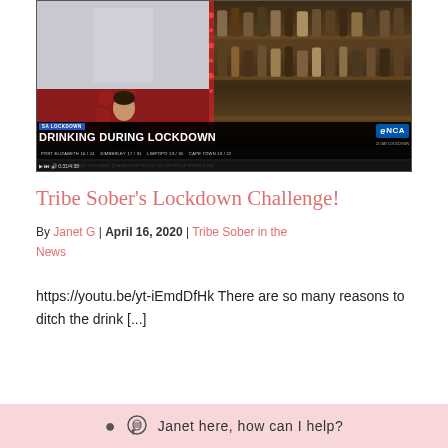[Figure (screenshot): Screenshot of an eNCA news broadcast showing 'SA LOCKDOWN: DRINKING DURING LOCKDOWN' with a video call participant top-left, a liquor store right, a news anchor bottom-left, and weather ticker.]
Tribe Sober's Lockdown Challenge!
By Janet G | April 16, 2020 | Tribe Sober in the News
https://youtu.be/yt-iEmdDfHk There are so many reasons to ditch the drink [...]
Janet here, how can I help?